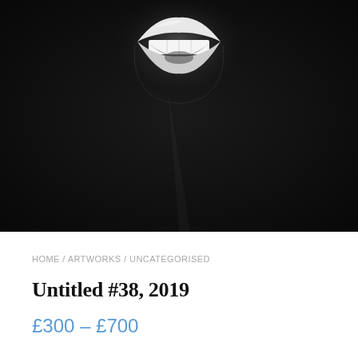[Figure (photo): Black and white photograph on dark background showing a glowing pair of lips/mouth against a very dark, almost black backdrop. The mouth appears illuminated from above, centered near the top of the image.]
HOME / ARTWORKS / UNCATEGORISED
Untitled #38, 2019
£300 – £700